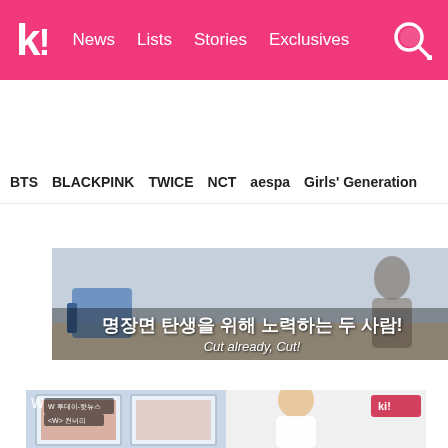k! News  Lists  Stories  Exclusives
BTS  BLACKPINK  TWICE  NCT  aespa  Girls' Generation
[Figure (screenshot): Video screenshot with Korean subtitle text reading '명장면 탄생을 위해 노력하는 두 사람!' and English subtitle 'Cut already, Cut!']
After another take, the two couldn't hide their embarrassment again. The two needed to do some extreme reactions to shake off the embarrassment. Han Hyo Joo hilariously left the room, while Lee Jong Suk just stared out the window.
[Figure (screenshot): TV show screenshot showing a person in a white shirt inside a room with windows looking out to a brick building exterior]